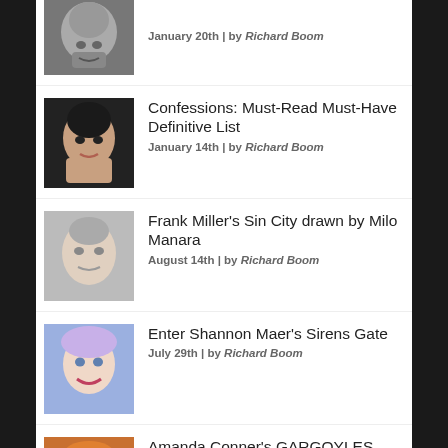January 20th | by Richard Boom
Confessions: Must-Read Must-Have Definitive List
January 14th | by Richard Boom
Frank Miller’s Sin City drawn by Milo Manara
August 14th | by Richard Boom
Enter Shannon Maer’s Sirens Gate
July 29th | by Richard Boom
Amanda Conner’s GARGOYLES reprint, new series at Dynamite
July 29th | by Richard Boom
Preview: Bendis’ Pearl III #3
July 27th | by Richard Boom